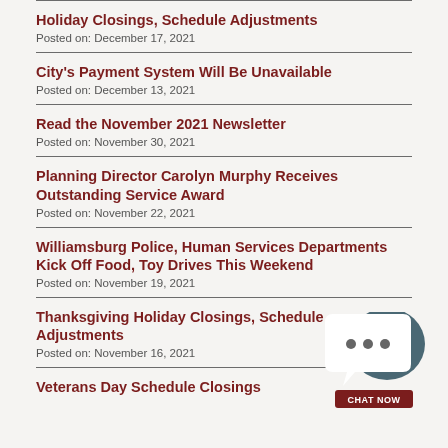Holiday Closings, Schedule Adjustments
Posted on: December 17, 2021
City's Payment System Will Be Unavailable
Posted on: December 13, 2021
Read the November 2021 Newsletter
Posted on: November 30, 2021
Planning Director Carolyn Murphy Receives Outstanding Service Award
Posted on: November 22, 2021
Williamsburg Police, Human Services Departments Kick Off Food, Toy Drives This Weekend
Posted on: November 19, 2021
Thanksgiving Holiday Closings, Schedule Adjustments
Posted on: November 16, 2021
Veterans Day Schedule Closings
[Figure (infographic): Chat Now widget with speech bubble icon and dark teal circle background, with a maroon 'CHAT NOW' button]